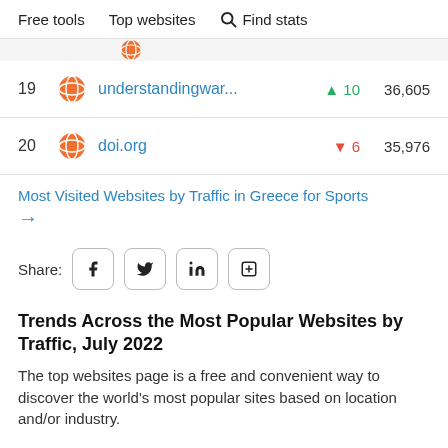Free tools   Top websites   Find stats
| Rank | Icon | Site | Change | Visits |
| --- | --- | --- | --- | --- |
| 19 |  | understandingwar... | ↑ 10 | 36,605 |
| 20 |  | doi.org | ↓ 6 | 35,976 |
Most Visited Websites by Traffic in Greece for Sports →
Share:
Trends Across the Most Popular Websites by Traffic, July 2022
The top websites page is a free and convenient way to discover the world's most popular sites based on location and/or industry.